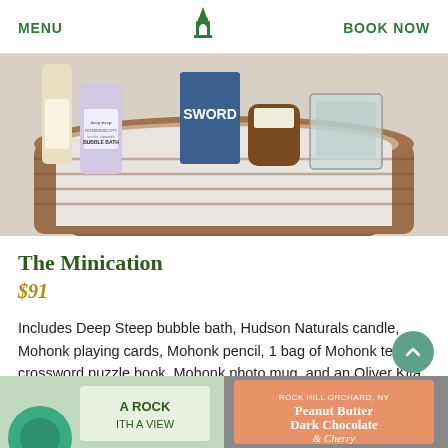MENU   [logo]   BOOK NOW
[Figure (photo): A wicker gift basket filled with items including a Deep Steep Premium Beauty bubble bath (lavender chamomile), a Hudson Naturals candle, a crossword puzzle book, playing cards, and other products arranged in white tissue paper.]
The Minication
$91
Includes Deep Steep bubble bath, Hudson Naturals candle, Mohonk playing cards, Mohonk pencil, 1 bag of Mohonk tea, crossword puzzle book, Mohonk photo mug, and an Oliver Kita chocolate bar.
[Figure (photo): Partial bottom strip showing two product images: left side shows a green item with text 'A ROCK' and partially visible 'ITH A VIEW', right side shows a salmon/orange colored product labelled 'Peanut Butter Dark Chocolate & Cherry'.]